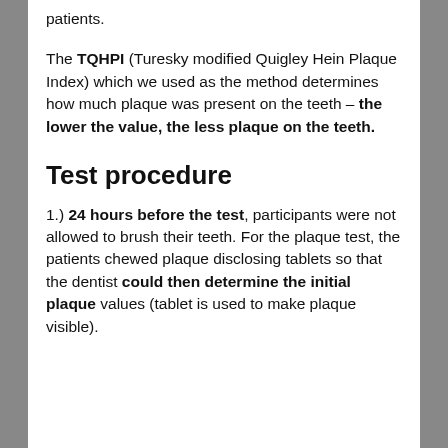patients.
The TQHPI (Turesky modified Quigley Hein Plaque Index) which we used as the method determines how much plaque was present on the teeth – the lower the value, the less plaque on the teeth.
Test procedure
1.) 24 hours before the test, participants were not allowed to brush their teeth. For the plaque test, the patients chewed plaque disclosing tablets so that the dentist could then determine the initial plaque values (tablet is used to make plaque visible).